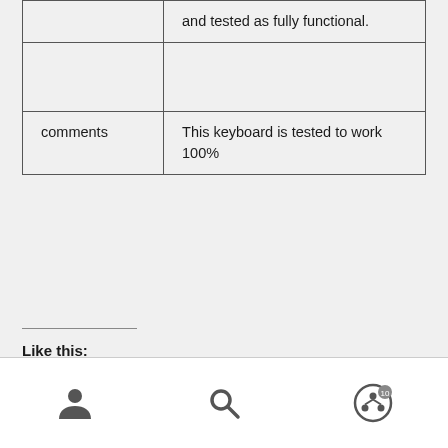|  | and tested as fully functional. |
|  |  |
| comments | This keyboard is tested to work 100% |
Like this: